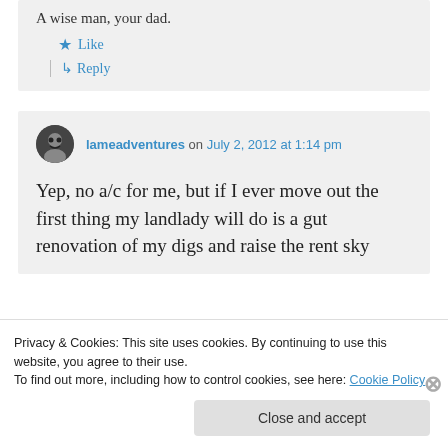A wise man, your dad.
★ Like
↳ Reply
lameadventures on July 2, 2012 at 1:14 pm
Yep, no a/c for me, but if I ever move out the first thing my landlady will do is a gut renovation of my digs and raise the rent sky
Privacy & Cookies: This site uses cookies. By continuing to use this website, you agree to their use.
To find out more, including how to control cookies, see here: Cookie Policy
Close and accept